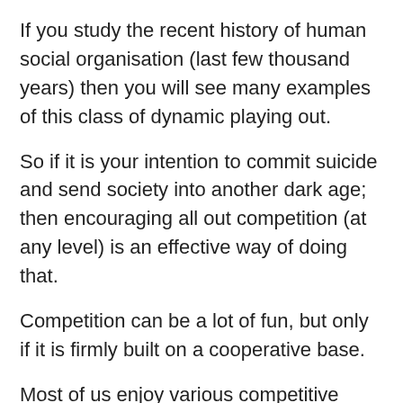If you study the recent history of human social organisation (last few thousand years) then you will see many examples of this class of dynamic playing out.
So if it is your intention to commit suicide and send society into another dark age; then encouraging all out competition (at any level) is an effective way of doing that.
Competition can be a lot of fun, but only if it is firmly built on a cooperative base.
Most of us enjoy various competitive sports. My favourite is golf. And golf (like most sports) is firmly based in cooperation. It is instant disqualification if you do anything to damage another player, or interfere with their equipment. If I had to be alert and not turn my back to any other player for fear that they would take a driver and